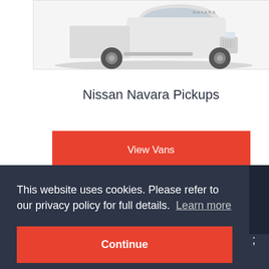[Figure (photo): White Nissan Navara pickup truck viewed from the front-side angle, partially cropped at top of page]
Nissan Navara Pickups
View Vans
This website uses cookies. Please refer to our privacy policy for full details.  Learn more
Continue
today (Same - Five)